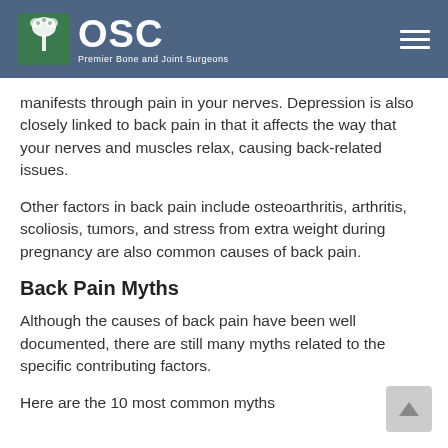OSC Premier Bone and Joint Surgeons
manifests through pain in your nerves. Depression is also closely linked to back pain in that it affects the way that your nerves and muscles relax, causing back-related issues.
Other factors in back pain include osteoarthritis, arthritis, scoliosis, tumors, and stress from extra weight during pregnancy are also common causes of back pain.
Back Pain Myths
Although the causes of back pain have been well documented, there are still many myths related to the specific contributing factors.
Here are the 10 most common myths